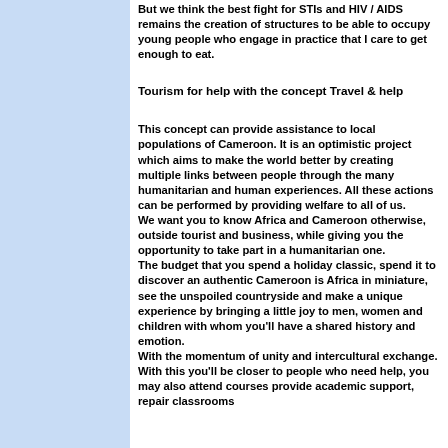But we think the best fight for STIs and HIV / AIDS remains the creation of structures to be able to occupy young people who engage in practice that I care to get enough to eat.
Tourism for help with the concept Travel & help
This concept can provide assistance to local populations of Cameroon. It is an optimistic project which aims to make the world better by creating multiple links between people through the many humanitarian and human experiences. All these actions can be performed by providing welfare to all of us.
We want you to know Africa and Cameroon otherwise, outside tourist and business, while giving you the opportunity to take part in a humanitarian one.
The budget that you spend a holiday classic, spend it to discover an authentic Cameroon is Africa in miniature, see the unspoiled countryside and make a unique experience by bringing a little joy to men, women and children with whom you'll have a shared history and emotion.
With the momentum of unity and intercultural exchange. With this you'll be closer to people who need help, you may also attend courses provide academic support, repair classrooms